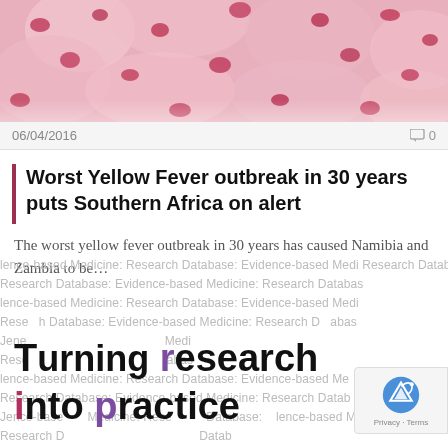[Figure (photo): Microscope image of cells/blood cells in pink/red tones]
06/04/2016  0
Worst Yellow Fever outbreak in 30 years puts Southern Africa on alert
The worst yellow fever outbreak in 30 years has caused Namibia and Zambia to be...
[Figure (infographic): Watermark background text 'Evidence-based Medicine: Research Database' repeated, overlaid with large bold text 'Turning research into practice' with colored letters (r in purple, i in red, p in purple)]